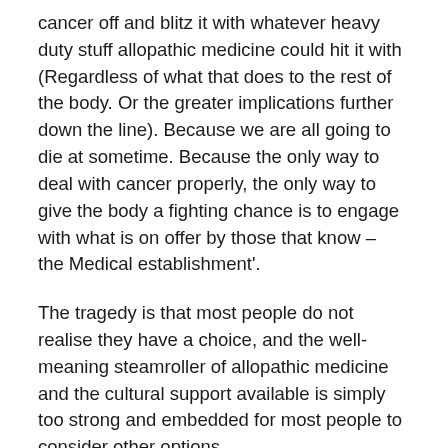cancer off and blitz it with whatever heavy duty stuff allopathic medicine could hit it with (Regardless of what that does to the rest of the body. Or the greater implications further down the line). Because we are all going to die at sometime. Because the only way to deal with cancer properly, the only way to give the body a fighting chance is to engage with what is on offer by those that know –  the Medical establishment'.
The tragedy is that most people do not realise they have a choice, and the well-meaning steamroller of allopathic medicine and the cultural support available is simply too strong and embedded for most people to consider other options.
I need to state that this is not to say I dismiss or stand in judgement of anyone who has used allopathic treatments